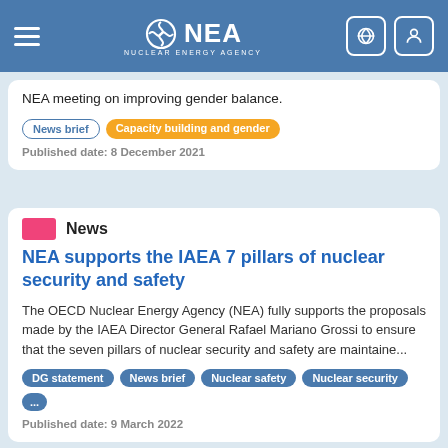NEA Nuclear Energy Agency
NEA meeting on improving gender balance.
News brief | Capacity building and gender
Published date: 8 December 2021
News
NEA supports the IAEA 7 pillars of nuclear security and safety
The OECD Nuclear Energy Agency (NEA) fully supports the proposals made by the IAEA Director General Rafael Mariano Grossi to ensure that the seven pillars of nuclear security and safety are maintaine...
DG statement | News brief | Nuclear safety | Nuclear security | ...
Published date: 9 March 2022